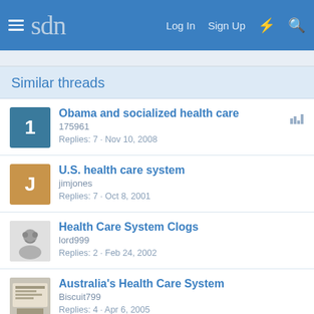sdn | Log In  Sign Up
Similar threads
Obama and socialized health care
175961
Replies: 7 · Nov 10, 2008
U.S. health care system
jimjones
Replies: 7 · Oct 8, 2001
Health Care System Clogs
lord999
Replies: 2 · Feb 24, 2002
Australia's Health Care System
Biscuit799
Replies: 4 · Apr 6, 2005